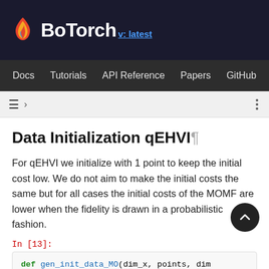BoTorch v: latest — Docs | Tutorials | API Reference | Papers | GitHub
Data Initialization qEHVI¶
For qEHVI we initialize with 1 point to keep the initial cost low. We do not aim to make the initial costs the same but for all cases the initial costs of the MOMF are lower when the fidelity is drawn in a probabilistic fashion.
In [13]:
def gen_init_data_MO(dim_x, points, dim
    # generates random training data.
    train_x = torch.rand(size=(points
    train_obj = problem_MO(train_x, dim